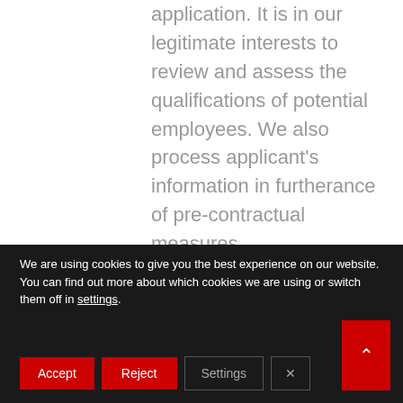application. It is in our legitimate interests to review and assess the qualifications of potential employees. We also process applicant's information in furtherance of pre-contractual measures.
Exercising our rights. We may use your personal information to exercise our
We are using cookies to give you the best experience on our website.
You can find out more about which cookies we are using or switch them off in settings.